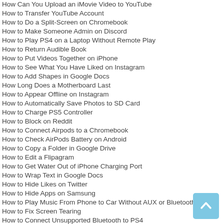How Can You Upload an iMovie Video to YouTube
How to Transfer YouTube Account
How to Do a Split-Screen on Chromebook
How to Make Someone Admin on Discord
How to Play PS4 on a Laptop Without Remote Play
How to Return Audible Book
How to Put Videos Together on iPhone
How to See What You Have Liked on Instagram
How to Add Shapes in Google Docs
How Long Does a Motherboard Last
How to Appear Offline on Instagram
How to Automatically Save Photos to SD Card
How to Charge PS5 Controller
How to Block on Reddit
How to Connect Airpods to a Chromebook
How to Check AirPods Battery on Android
How to Copy a Folder in Google Drive
How to Edit a Flipagram
How to Get Water Out of iPhone Charging Port
How to Wrap Text in Google Docs
How to Hide Likes on Twitter
How to Hide Apps on Samsung
How to Play Music From Phone to Car Without AUX or Bluetooth
How to Fix Screen Tearing
How to Connect Unsupported Bluetooth to PS4